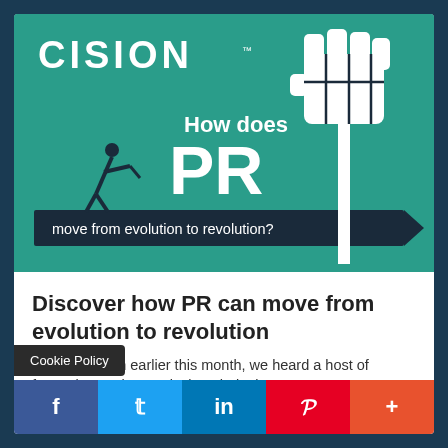[Figure (illustration): Cision branded promotional image on teal background. Shows a person pushing against a large raised fist. Text reads 'How does PR move from evolution to revolution?' with an arrow. Cision logo in top left.]
Discover how PR can move from evolution to revolution
At CommsCon earlier this month, we heard a host of fantastic speakers articulate their view
Cookie Policy
f
t
in
P
+